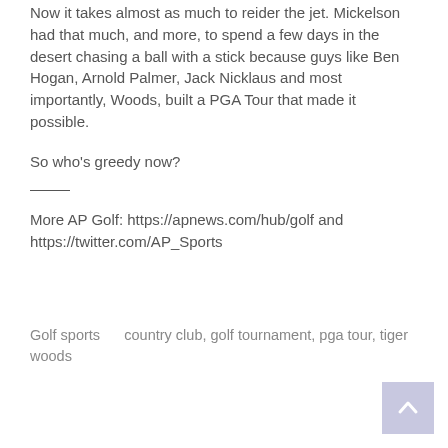Now it takes almost as much to reider the jet. Mickelson had that much, and more, to spend a few days in the desert chasing a ball with a stick because guys like Ben Hogan, Arnold Palmer, Jack Nicklaus and most importantly, Woods, built a PGA Tour that made it possible.
So who's greedy now?
More AP Golf: https://apnews.com/hub/golf and https://twitter.com/AP_Sports
Golf sports    country club, golf tournament, pga tour, tiger woods